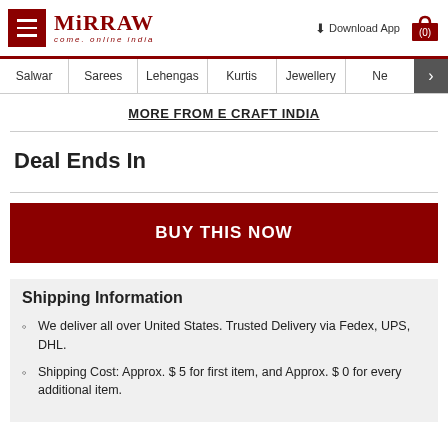Mirraw — come. online india | Download App | (0)
Salwar | Sarees | Lehengas | Kurtis | Jewellery | Ne >
MORE FROM E CRAFT INDIA
Deal Ends In
BUY THIS NOW
Shipping Information
We deliver all over United States. Trusted Delivery via Fedex, UPS, DHL.
Shipping Cost: Approx. $ 5 for first item, and Approx. $ 0 for every additional item.